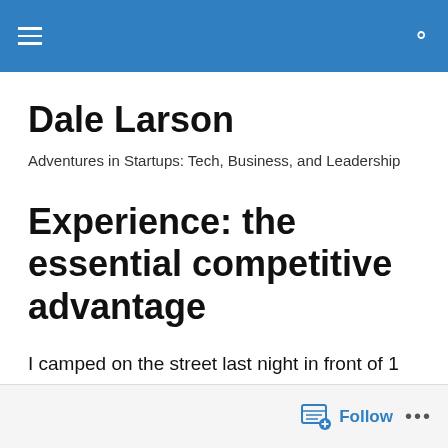Dale Larson blog header navigation bar
Dale Larson
Adventures in Startups: Tech, Business, and Leadership
Experience: the essential competitive advantage
I camped on the street last night in front of 1 Stockton, the San Francisco Apple Store.  I'll be here until 8am tomorrow.
Reporters ask “why?”
Follow button bar